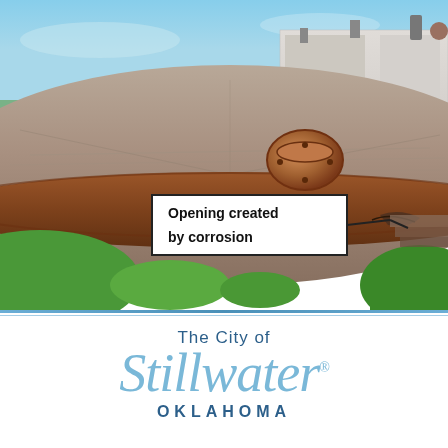[Figure (photo): Aerial/close-up photo of a large circular metal tank with a corroded floating roof, showing an opening created by corrosion at the tank edge. A rust-stained ring surrounds the tank. A center vent/hatch is visible. Green grass and a concrete building are visible in the background. An annotation box labeled 'Opening created by corrosion' points to the corroded area on the tank edge.]
Opening created by corrosion
[Figure (logo): The City of Stillwater Oklahoma municipal logo. 'The City of' in small dark blue text above stylized italic light blue 'Stillwater.' script text with a registered trademark symbol, and 'OKLAHOMA' in bold spaced dark blue capital letters below.]